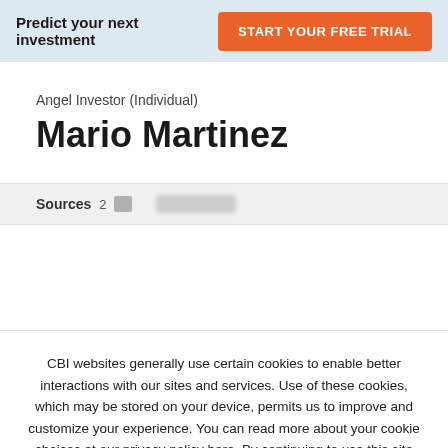Predict your next investment  START YOUR FREE TRIAL
Angel Investor (Individual)
Mario Martinez
Sources  2
CBI websites generally use certain cookies to enable better interactions with our sites and services. Use of these cookies, which may be stored on your device, permits us to improve and customize your experience. You can read more about your cookie choices at our privacy policy here. By continuing to use this site you are consenting to these choices.
I ACCEPT  I DO NOT ACCEPT